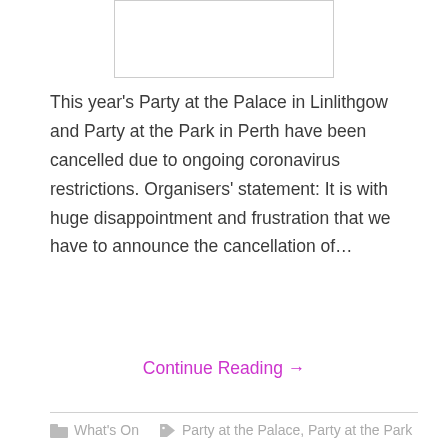[Figure (other): Placeholder image box at the top of the page]
This year's Party at the Palace in Linlithgow and Party at the Park in Perth have been cancelled due to ongoing coronavirus restrictions. Organisers' statement: It is with huge disappointment and frustration that we have to announce the cancellation of…
Continue Reading →
What's On   Party at the Palace, Party at the Park
Celebrating Bob Dylan's 80th birthday on Pulse…